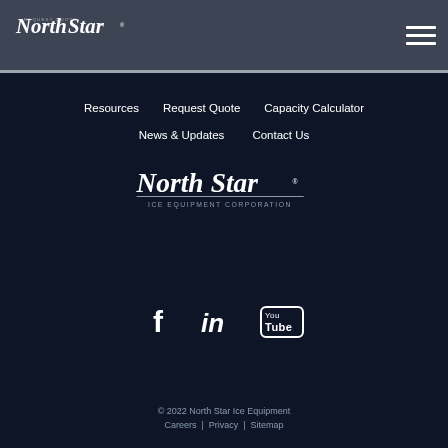NorthStar REQUEST QUOTE [hamburger menu]
Resources
Request Quote
Capacity Calculator
News & Updates
Contact Us
[Figure (logo): NorthStar Ice Equipment Corporation logo in white script with tagline]
[Figure (infographic): Social media icons: Facebook, LinkedIn, YouTube]
© 2022 North Star Ice Equipment
Careers | Privacy | Sitemap